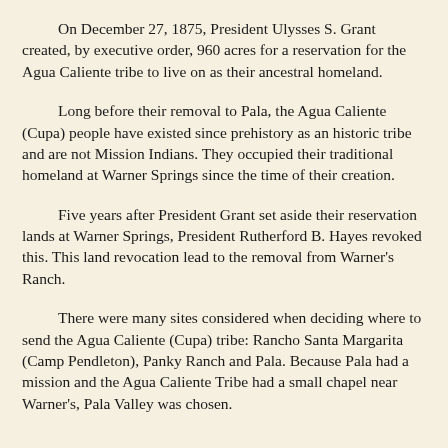On December 27, 1875, President Ulysses S. Grant created, by executive order, 960 acres for a reservation for the Agua Caliente tribe to live on as their ancestral homeland.
Long before their removal to Pala, the Agua Caliente (Cupa) people have existed since prehistory as an historic tribe and are not Mission Indians. They occupied their traditional homeland at Warner Springs since the time of their creation.
Five years after President Grant set aside their reservation lands at Warner Springs, President Rutherford B. Hayes revoked this. This land revocation lead to the removal from Warner's Ranch.
There were many sites considered when deciding where to send the Agua Caliente (Cupa) tribe: Rancho Santa Margarita (Camp Pendleton), Panky Ranch and Pala. Because Pala had a mission and the Agua Caliente Tribe had a small chapel near Warner's, Pala Valley was chosen.